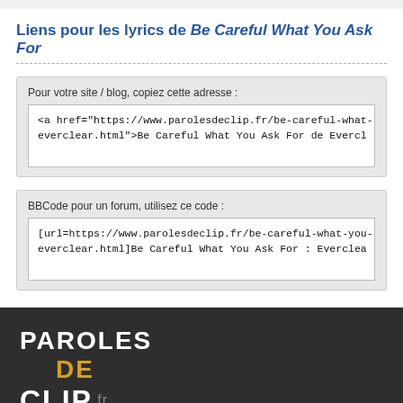Liens pour les lyrics de Be Careful What You Ask For
Pour votre site / blog, copiez cette adresse :
<a href="https://www.parolesdeclip.fr/be-careful-what-you-ask-for-everclear.html">Be Careful What You Ask For de Evcl
BBCode pour un forum, utilisez ce code :
[url=https://www.parolesdeclip.fr/be-careful-what-you-ask-for-everclear.html]Be Careful What You Ask For : Everclea
[Figure (logo): Paroles De Clip .fr logo in white and gold text on dark background]